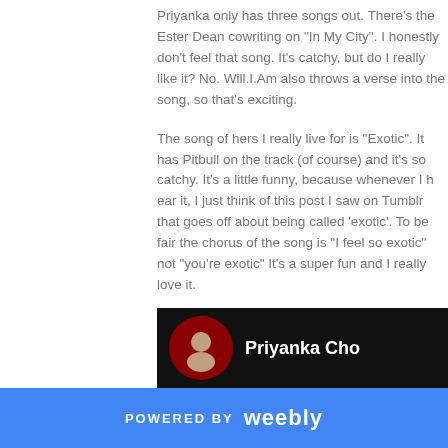Priyanka only has three songs out. There's the Ester Dean cowriting on "In My City". I honestly don't feel that song. It's catchy, but do I really like it? No. Will.I.Am also throws a verse into the song, so that's exciting.

The song of hers I really live for is "Exotic". It has Pitbull on the track (of course) and it's so catchy. It's a little funny, because whenever I hear it, I just think of this post I saw on Tumblr that goes off about being called 'exotic'. To be fair the chorus of the song is "I feel so exotic" not "you're exotic" It's a super fun and I love it.
[Figure (photo): Dark background image bar showing a woman (Priyanka Chopra) with text 'Priyanka Cho' visible]
POWERED BY weebly